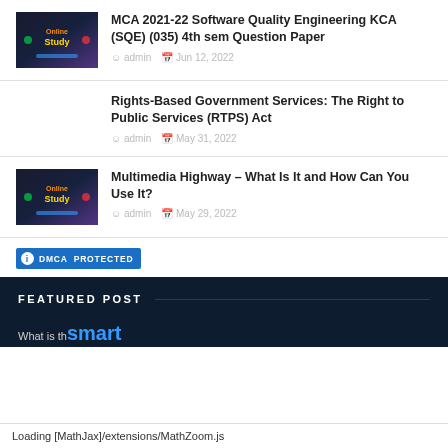MCA 2021-22 Software Quality Engineering KCA (SQE) (035) 4th sem Question Paper
admin  Jun 12, 2022
Rights-Based Government Services: The Right to Public Services (RTPS) Act
admin  May 31, 2022
Multimedia Highway – What Is It and How Can You Use It?
admin  May 29, 2022
[Figure (logo): Colored logo thumbnail for post 1]
[Figure (logo): Colored logo thumbnail for post 3]
DMCA PROTECTED
FEATURED POST
smart
Loading [MathJax]/extensions/MathZoom.js